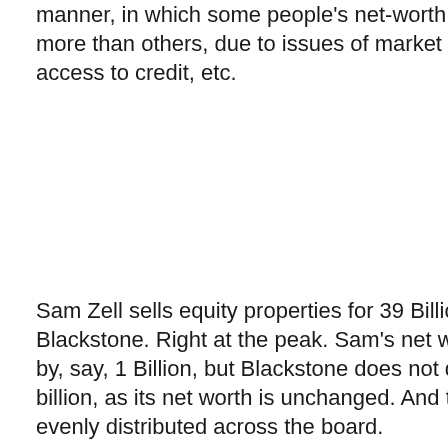manner, in which some people's net-worth goes up by more than others, due to issues of market timing, access to credit, etc.
Sam Zell sells equity properties for 39 Billion in 2007 to Blackstone. Right at the peak. Sam's net worth goes up by, say, 1 Billion, but Blackstone does not dissave by 1 billion, as its net worth is unchanged. And this is not evenly distributed across the board.
As Sam was building his real estate empire, he borrowed to buy assets in a period of time